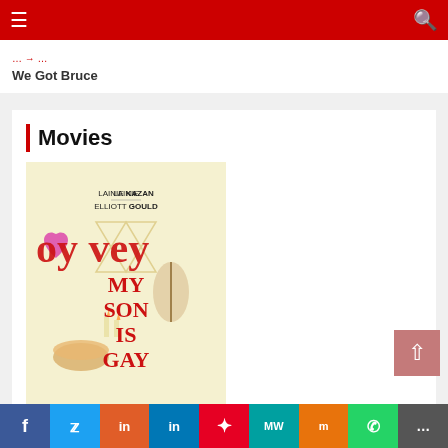Navigation bar with hamburger menu and search icon
We Got Bruce
Movies
[Figure (photo): Movie poster for 'Oy Vey My Son Is Gay' featuring Lainie Kazan and Elliott Gould. Yellow background with illustrated Jewish cultural items. Text reads: LAINIE KAZAN ELLIOTT GOULD / oy vey / MY SON IS GAY / LOVE IS LOVE]
Social sharing bar: Facebook, Twitter, Reddit, LinkedIn, Pinterest, MeWe, Mix, WhatsApp, More